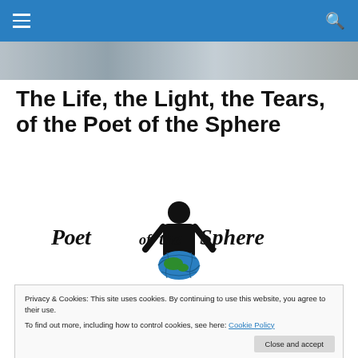Navigation bar with hamburger menu and search icon
[Figure (illustration): Hero banner strip showing a faded background photograph]
The Life, the Light, the Tears, of the Poet of the Sphere
[Figure (logo): Poet of the Sphere logo: silhouette of a person holding a globe, with text 'Poet of the Sphere']
Privacy & Cookies: This site uses cookies. By continuing to use this website, you agree to their use.
To find out more, including how to control cookies, see here: Cookie Policy
At the heart of the Pacific Ocean,